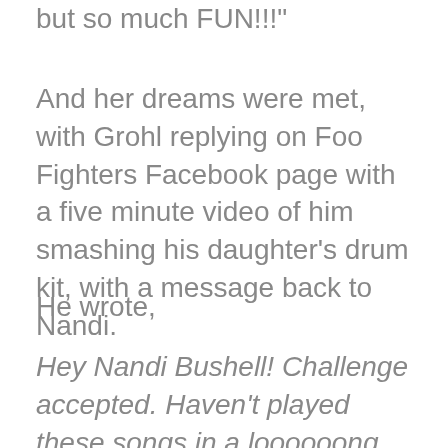but so much FUN!!!"
And her dreams were met, with Grohl replying on Foo Fighters Facebook page with a five minute video of him smashing his daughter's drum kit, with a message back to Nandi.
He wrote,
Hey Nandi Bushell! Challenge accepted. Haven't played these songs in a loooooong time.....thanks for the inspiration!!! Your move!!!